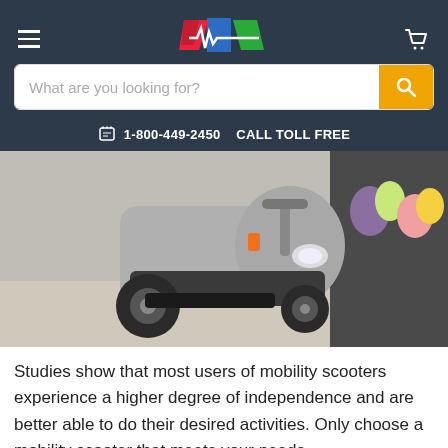[Figure (screenshot): Website header with dark navy background, hamburger menu icon on left, colorful logo (red, blue, green, yellow shapes with heartbeat line) in center, shopping cart icon on right]
[Figure (screenshot): Search bar with placeholder text 'What are you looking for?' and orange search button with magnifying glass icon]
1-800-449-2450  CALL TOLL FREE
[Figure (photo): Mobility scooter (silver and black) photographed in a store, with flowers visible in the background on the right side]
Studies show that most users of mobility scooters experience a higher degree of independence and are better able to do their desired activities. Only choose a mobility scooter that meets your needs.